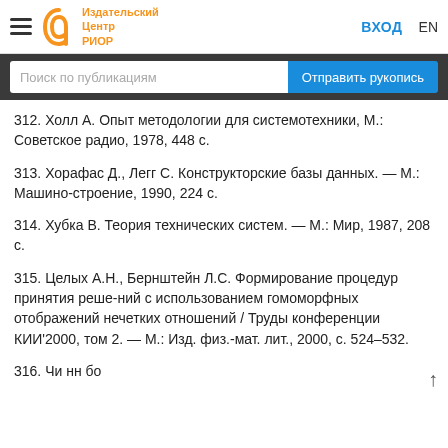Издательский Центр РИОР — ВХОД  EN
Поиск по публикациям
312. Холл А. Опыт методологии для системотехники, М.: Советское радио, 1978, 448 с.
313. Хорафас Д., Легг С. Конструкторские базы данных. — М.: Машино-строение, 1990, 224 с.
314. Хубка В. Теория технических систем. — М.: Мир, 1987, 208 с.
315. Целых А.Н., Бернштейн Л.С. Формирование процедур принятия реше-ний с использованием гомоморфных отображений нечетких отношений / Труды конференции КИИ'2000, том 2. — М.: Изд. физ.-мат. лит., 2000, с. 524–532.